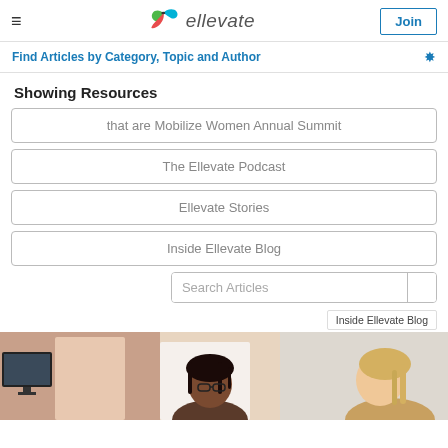ellevate — Join
Find Articles by Category, Topic and Author
Showing Resources
that are Mobilize Women Annual Summit
The Ellevate Podcast
Ellevate Stories
Inside Ellevate Blog
Search Articles
Inside Ellevate Blog
[Figure (photo): Two women in an office setting, one with dark braided hair and glasses looking at a screen, another with blonde hair visible from behind]